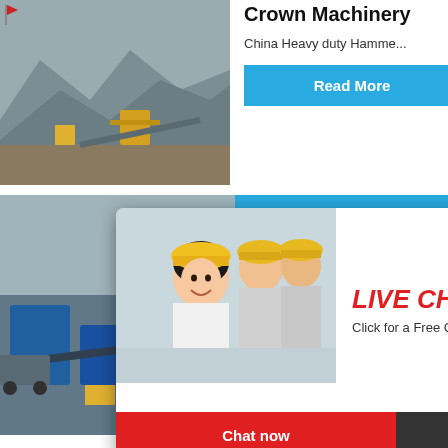Crown Machinery
China Heavy duty Hamme...
Read More
[Figure (photo): Mining/crushing equipment site with machinery and earthworks]
hour online
[Figure (photo): Industrial cone crusher machine]
2019-8-2
Read
Click me to chat>>
Enquiry
limingjlmofen
[Figure (photo): Live chat popup with worker in yellow helmet and LIVE CHAT heading]
LIVE CHAT
Click for a Free Consultation
Chat now
Chat later